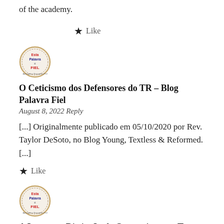of the academy.
★ Like
[Figure (logo): Circular badge logo for Blog Palavra Fiel with red and blue text]
O Ceticismo dos Defensores do TR – Blog Palavra Fiel
August 8, 2022 Reply
[...] Originalmente publicado em 05/10/2020 por Rev. Taylor DeSoto, no Blog Young, Textless & Reformed. [...]
★ Like
[Figure (logo): Circular badge logo for Blog Palavra Fiel with red and blue text]
A Incorreta Distinção de Categoria entre Texto e Cânon – Blog Palavra Fiel